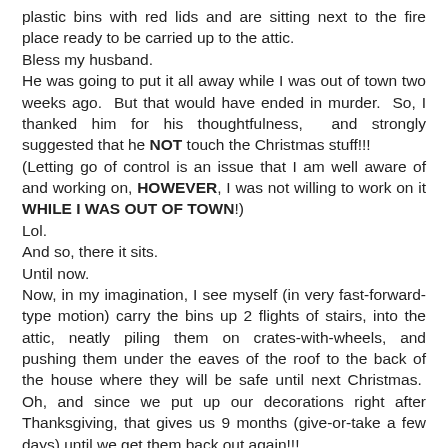plastic bins with red lids and are sitting next to the fire place ready to be carried up to the attic.
Bless my husband.
He was going to put it all away while I was out of town two weeks ago.  But that would have ended in murder.  So, I thanked him for his thoughtfulness,  and strongly suggested that he NOT touch the Christmas stuff!!!
(Letting go of control is an issue that I am well aware of and working on, HOWEVER, I was not willing to work on it WHILE I WAS OUT OF TOWN!)
Lol.
And so, there it sits.
Until now.
Now, in my imagination, I see myself (in very fast-forward-type motion) carry the bins up 2 flights of stairs, into the attic, neatly piling them on crates-with-wheels, and pushing them under the eaves of the roof to the back of the house where they will be safe until next Christmas.  Oh, and since we put up our decorations right after Thanksgiving, that gives us 9 months (give-or-take a few days) until we get them back out again!!!